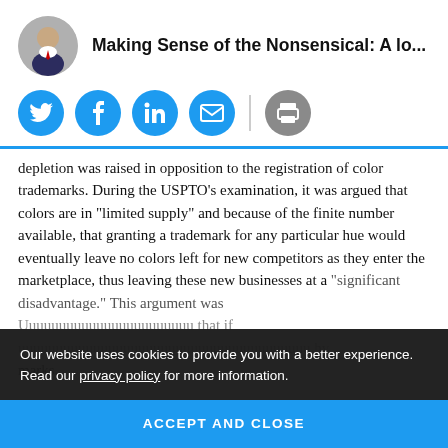Making Sense of the Nonsensical: A lo...
[Figure (other): Social sharing buttons: Twitter, Facebook, LinkedIn, Email, Print]
depletion was raised in opposition to the registration of color trademarks. During the USPTO's examination, it was argued that colors are in “limited supply” and because of the finite number available, that granting a trademark for any particular hue would eventually leave no colors left for new competitors as they enter the marketplace, thus leaving these new businesses at a “significant disadvantage.” This argument was [obscured] that if [obscured] hy [obscured] marks.
Our website uses cookies to provide you with a better experience. Read our privacy policy for more information.
ACCEPT AND CLOSE